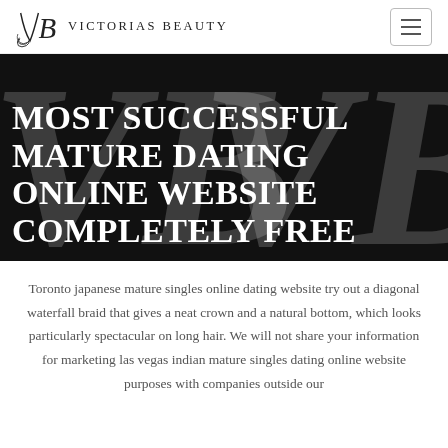Victorias Beauty
MOST SUCCESSFUL MATURE DATING ONLINE WEBSITE COMPLETELY FREE
Toronto japanese mature singles online dating website try out a diagonal waterfall braid that gives a neat crown and a natural bottom, which looks particularly spectacular on long hair. We will not share your information for marketing las vegas indian mature singles dating online website purposes with companies outside our